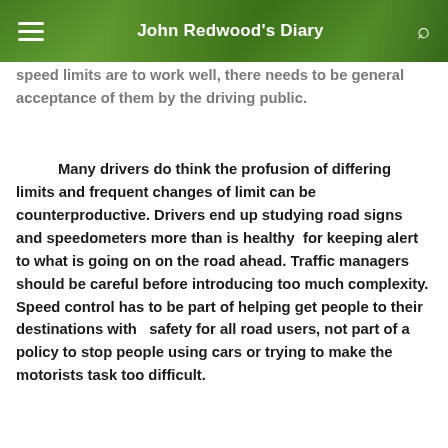John Redwood's Diary
speed limits are to work well, there needs to be general acceptance of them by the driving public.
Many drivers do think the profusion of differing limits and frequent changes of limit can be counterproductive. Drivers end up studying road signs and speedometers more than is healthy for keeping alert to what is going on on the road ahead. Traffic managers should be careful before introducing too much complexity. Speed control has to be part of helping get people to their destinations with safety for all road users, not part of a policy to stop people using cars or trying to make the motorists task too difficult.